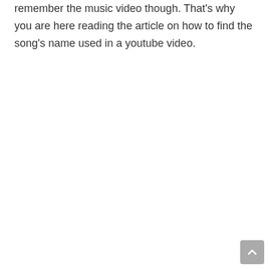remember the music video though. That's why you are here reading the article on how to find the song's name used in a youtube video.